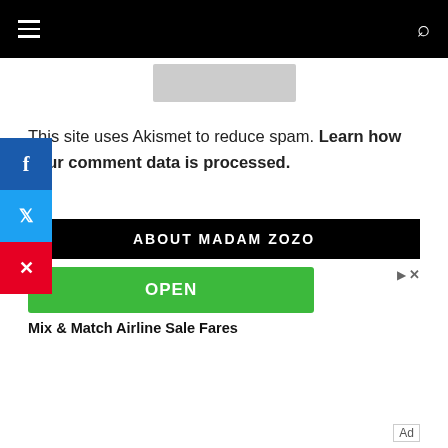[Figure (other): Gray placeholder image banner]
This site uses Akismet to reduce spam. Learn how your comment data is processed.
[Figure (other): Social media sidebar with Facebook, Twitter, and Pinterest buttons]
ABOUT MADAM ZOZO
[Figure (other): Advertisement with green OPEN button and ad controls]
Mix & Match Airline Sale Fares
Ad